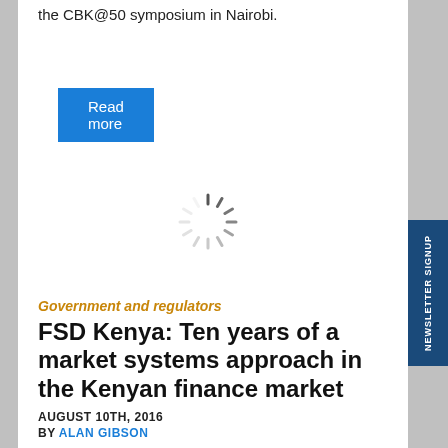the CBK@50 symposium in Nairobi.
Read more
[Figure (other): Loading spinner animation indicator (circular dashed spinner icon)]
Government and regulators
FSD Kenya: Ten years of a market systems approach in the Kenyan finance market
AUGUST 10TH, 2016
BY ALAN GIBSON